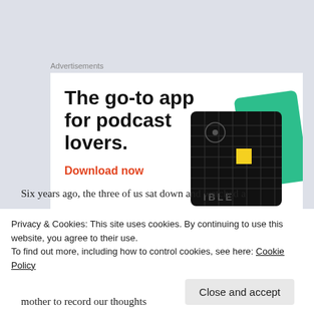Advertisements
[Figure (illustration): Advertisement banner for a podcast app. Text reads 'The go-to app for podcast lovers.' with a red 'Download now' call to action, and an image of app interface cards on the right.]
Six years ago, the three of us sat down and watched a
Privacy & Cookies: This site uses cookies. By continuing to use this website, you agree to their use.
To find out more, including how to control cookies, see here: Cookie Policy
Close and accept
mother to record our thoughts